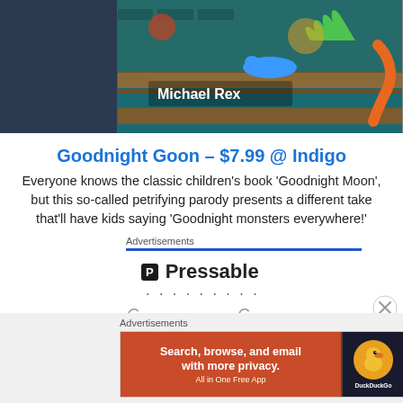[Figure (illustration): Book cover for 'Goodnight Goon' by Michael Rex showing colorful monster illustrations with green and teal background, with author name 'Michael Rex' in white text overlay]
Goodnight Goon – $7.99 @ Indigo
Everyone knows the classic children's book 'Goodnight Moon', but this so-called petrifying parody presents a different take that'll have kids saying 'Goodnight monsters everywhere!'
Advertisements
[Figure (logo): Pressable logo — black square with P and 'Pressable' text]
[Figure (screenshot): DuckDuckGo advertisement banner: orange section with 'Search, browse, and email with more privacy. All in One Free App' and DuckDuckGo logo on dark right panel]